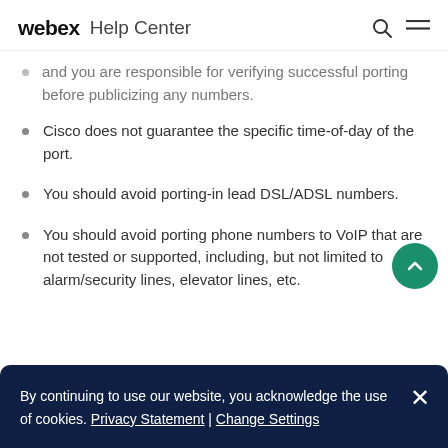webex Help Center
and you are responsible for verifying successful porting before publicizing any numbers.
Cisco does not guarantee the specific time-of-day of the port.
You should avoid porting-in lead DSL/ADSL numbers.
You should avoid porting phone numbers to VoIP that are not tested or supported, including, but not limited to alarm/security lines, elevator lines, etc.
By continuing to use our website, you acknowledge the use of cookies. Privacy Statement | Change Settings